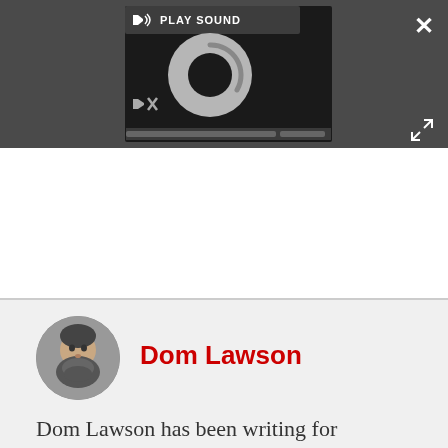[Figure (screenshot): Media player UI showing PLAY SOUND label with speaker icon, a loading spinner circle, a muted speaker icon, and progress bars at the bottom. Close X button and expand arrows in the top-right corners of the dark overlay.]
Dom Lawson
Dom Lawson has been writing for Hammer and